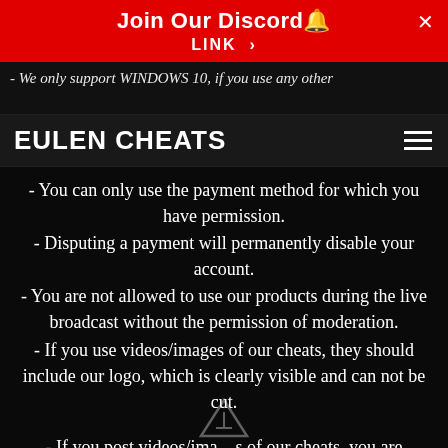Join Our Discord🔔
LINK >
- We only support WINDOWS 10, if you use any other
EULEN CHEATS
- You can only use the payment method for which you have permission.
- Disputing a payment will permanently disable your account.
- You are not allowed to use our products during the live broadcast without the permission of moderation.
- If you use videos/images of our cheats, they should include our logo, which is clearly visible and can not be cut.
- If you post videos/images of our cheats, you are responsible for hiding your account information correctly.
- If you do not agree to these terms, you are prohibited